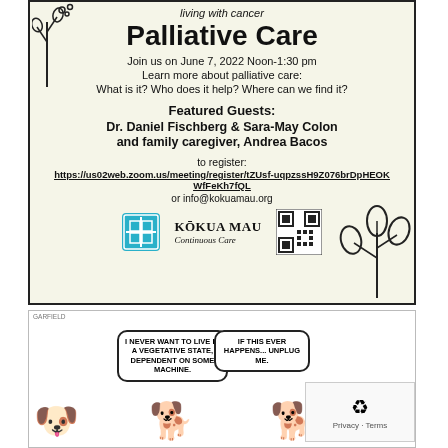living with cancer
Palliative Care
Join us on June 7, 2022 Noon-1:30 pm
Learn more about palliative care: What is it? Who does it help? Where can we find it?
Featured Guests:
Dr. Daniel Fischberg & Sara-May Colon and family caregiver, Andrea Bacos
to register:
https://us02web.zoom.us/meeting/register/tZUsf-uqpzssH9Z076brDpHEOKWfFeKh7fQL
or info@kokuamau.org
[Figure (logo): Kokua Mau Continuous Care logo with decorative icon and QR code]
[Figure (illustration): Comic strip showing cartoon characters with speech bubbles about not wanting to live in a vegetative state and being unplugged]